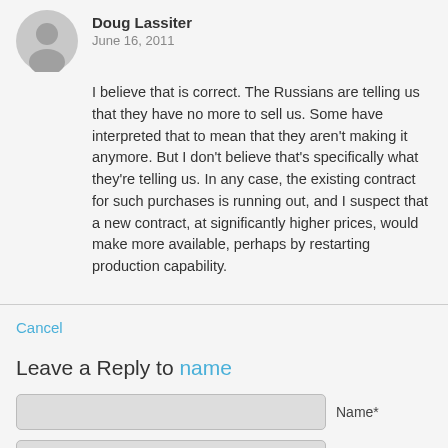Doug Lassiter
June 16, 2011
I believe that is correct. The Russians are telling us that they have no more to sell us. Some have interpreted that to mean that they aren't making it anymore. But I don't believe that's specifically what they're telling us. In any case, the existing contract for such purchases is running out, and I suspect that a new contract, at significantly higher prices, would make more available, perhaps by restarting production capability.
Cancel
Leave a Reply to name
Name*
E-Mail*
Website